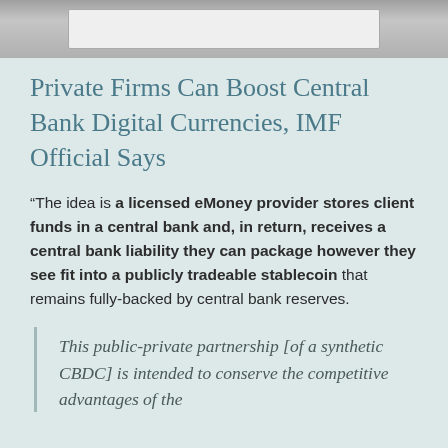[Figure (photo): Top portion of a photograph, showing a white rectangular object (possibly a device or card) against a gray/brown background]
Private Firms Can Boost Central Bank Digital Currencies, IMF Official Says
“The idea is a licensed eMoney provider stores client funds in a central bank and, in return, receives a central bank liability they can package however they see fit into a publicly tradeable stablecoin that remains fully-backed by central bank reserves.
This public-private partnership [of a synthetic CBDC] is intended to conserve the competitive advantages of the